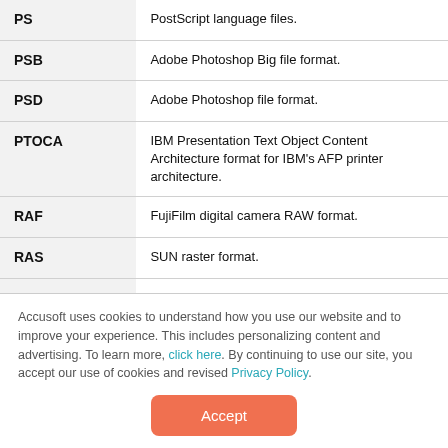| Format | Description |
| --- | --- |
| PS | PostScript language files. |
| PSB | Adobe Photoshop Big file format. |
| PSD | Adobe Photoshop file format. |
| PTOCA | IBM Presentation Text Object Content Architecture format for IBM's AFP printer architecture. |
| RAF | FujiFile digital camera RAW format. |
| RAS | SUN raster format. |
| RAW | Headerless RAW format. |
| SCI | SCITEX file format. It is used for electronic |
Accusoft uses cookies to understand how you use our website and to improve your experience. This includes personalizing content and advertising. To learn more, click here. By continuing to use our site, you accept our use of cookies and revised Privacy Policy.